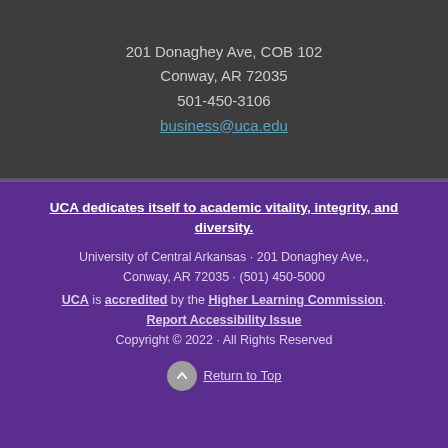201 Donaghey Ave, COB 102
Conway, AR 72035
501-450-3106
business@uca.edu
UCA dedicates itself to academic vitality, integrity, and diversity.
University of Central Arkansas · 201 Donaghey Ave., Conway, AR 72035 · (501) 450-5000
UCA is accredited by the Higher Learning Commission.
Report Accessibility Issue
Copyright © 2022 · All Rights Reserved
Return to Top